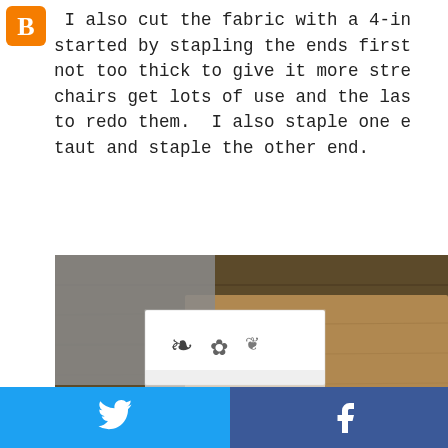[Figure (logo): Blogger orange 'B' icon in top left corner]
I also cut the fabric with a 4-in started by stapling the ends first not too thick to give it more stre chairs get lots of use and the las to redo them.  I also staple one e taut and staple the other end.
[Figure (photo): Close-up photo of fabric with decorative black and white damask pattern being stapled to a wooden chair seat, showing the corner of the seat with fabric folded over it against a dark wood background.]
[Figure (infographic): Social media share buttons grid: Twitter (blue), Facebook (dark blue), Email (gray), WhatsApp (green), SMS (blue), ShareThis (green)]